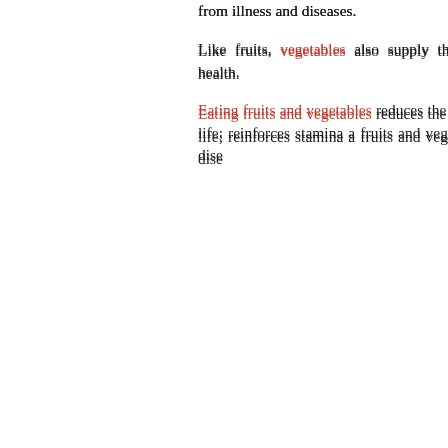from illness and diseases.
Like fruits, vegetables also supply the body with maintaining good health.
Eating fruits and vegetables reduces the risk of c process and prolongs life; reinforces stamina a fruits and vegetables prevent cardiovascular dise
Some of the healthy goodies from fruits and vege
Fruits are eaten raw or cooked, dried, canned